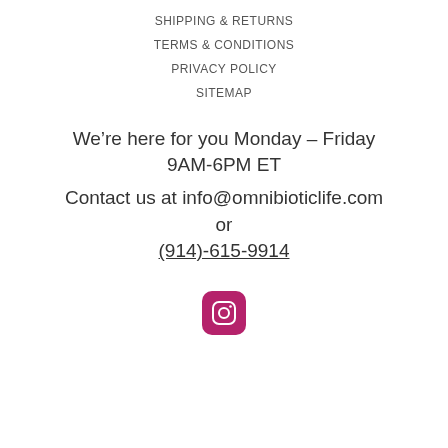SHIPPING & RETURNS
TERMS & CONDITIONS
PRIVACY POLICY
SITEMAP
We're here for you Monday – Friday 9AM-6PM ET
Contact us at info@omnibioticlife.com or
(914)-615-9914
[Figure (logo): Instagram logo icon — white camera outline on a pink/magenta rounded square background]